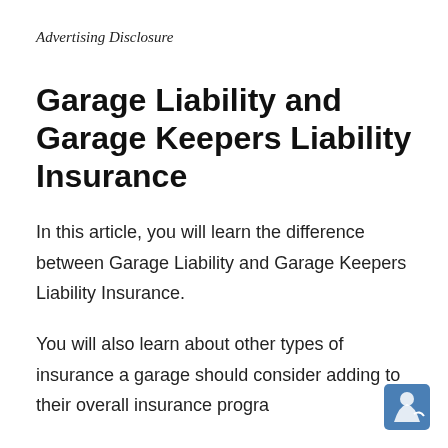Advertising Disclosure
Garage Liability and Garage Keepers Liability Insurance
In this article, you will learn the difference between Garage Liability and Garage Keepers Liability Insurance.
You will also learn about other types of insurance a garage should consider adding to their overall insurance program
[Figure (logo): Small blue square logo with white figure icon in bottom right corner]